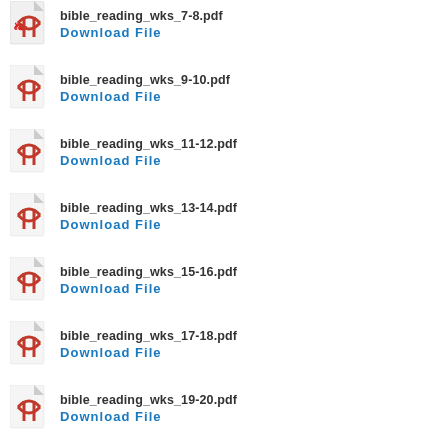bible_reading_wks_7-8.pdf
Download File
bible_reading_wks_9-10.pdf
Download File
bible_reading_wks_11-12.pdf
Download File
bible_reading_wks_13-14.pdf
Download File
bible_reading_wks_15-16.pdf
Download File
bible_reading_wks_17-18.pdf
Download File
bible_reading_wks_19-20.pdf
Download File
bible_reading_wks_21-22.pdf